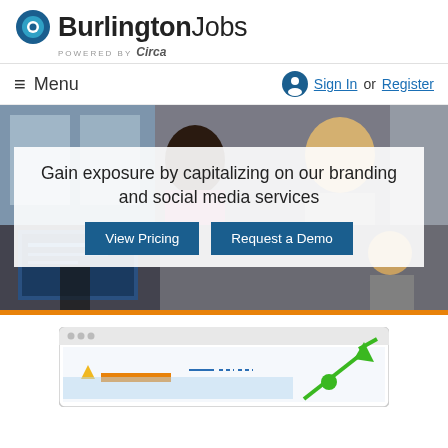BurlingtonJobs powered by Circa
Menu
Sign In or Register
[Figure (screenshot): Hero image showing office workers/professionals in background with overlay panel]
Gain exposure by capitalizing on our branding and social media services
View Pricing | Request a Demo
[Figure (screenshot): Dashboard preview screenshot showing a line chart with green upward trend arrow and orange/yellow bar indicators]